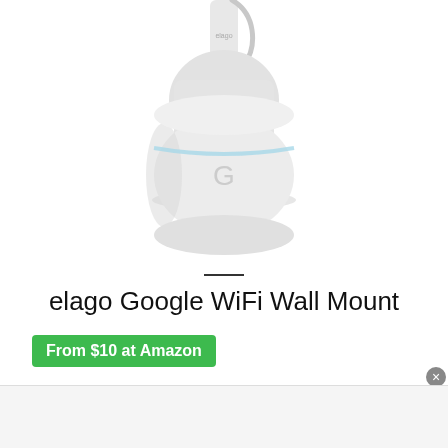[Figure (photo): Product photo of elago Google WiFi Wall Mount — a white cylindrical Google WiFi router unit mounted on a white wall bracket/mount, with a cable visible at the top, photographed on a white background.]
elago Google WiFi Wall Mount
From $10 at Amazon
Elago is known for some great smartphone accessories, and with the company's Wall Mount for Google WiFi, you'll